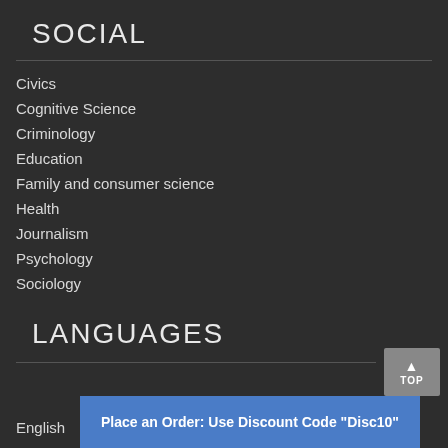SOCIAL
Civics
Cognitive Science
Criminology
Education
Family and consumer science
Health
Journalism
Psychology
Sociology
LANGUAGES
English
Place an Order: Use Discount Code "Disc10"